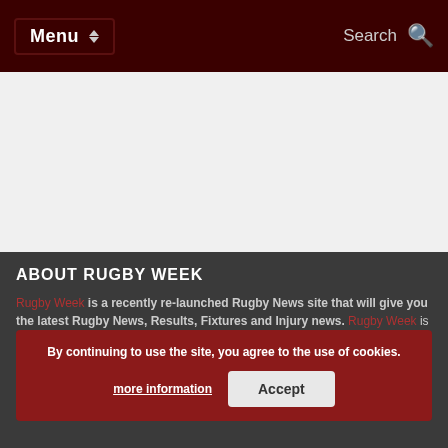Menu | Search
[Figure (other): Large white/grey content area placeholder]
ABOUT RUGBY WEEK
Rugby Week is a recently re-launched Rugby News site that will give you the latest Rugby News, Results, Fixtures and Injury news. Rugby Week is part of the Banter Relief Media stable and it's sister news sites are Chelsea, Liverpool, Man Utd, Tottenham and Arsenal. Rugby Week covers: International Rugby, Aviva Premiership Rugby, Six Nations Championship Rugby
By continuing to use the site, you agree to the use of cookies. more information | Accept